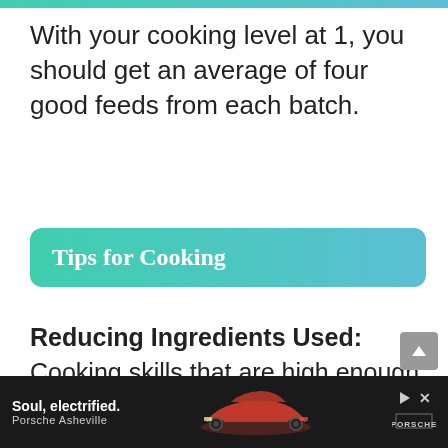With your cooking level at 1, you should get an average of four good feeds from each batch.
Tips for Cooking
Reducing Ingredients Used: Cooking skills that are high enough enable you to reduce the amount of ingredients you use per batch. You will still succeed 100% of the time. When you can, try it out. You can use it for any recipe, not just the
[Figure (photo): Advertisement banner for Porsche Asheville with tagline 'Soul, electrified.' showing a red Porsche car against a dark background, with Porsche logo on the right.]